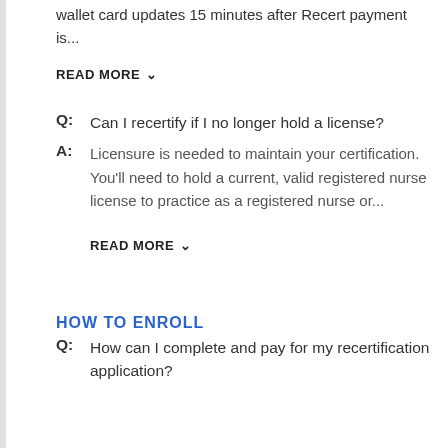wallet card updates 15 minutes after Recert payment is...
READ MORE ▾
Q: Can I recertify if I no longer hold a license?
A: Licensure is needed to maintain your certification. You'll need to hold a current, valid registered nurse license to practice as a registered nurse or...
READ MORE ▾
HOW TO ENROLL
Q: How can I complete and pay for my recertification application?